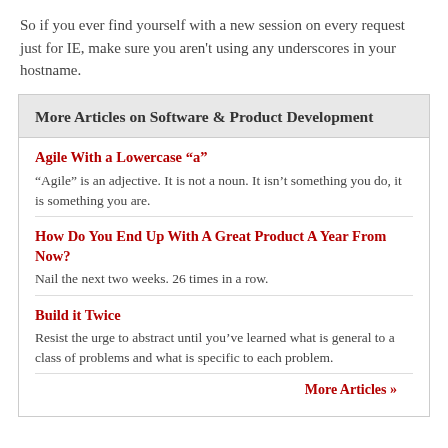So if you ever find yourself with a new session on every request just for IE, make sure you aren't using any underscores in your hostname.
More Articles on Software & Product Development
Agile With a Lowercase “a” — “Agile” is an adjective. It is not a noun. It isn’t something you do, it is something you are.
How Do You End Up With A Great Product A Year From Now? — Nail the next two weeks. 26 times in a row.
Build it Twice — Resist the urge to abstract until you’ve learned what is general to a class of problems and what is specific to each problem.
More Articles »